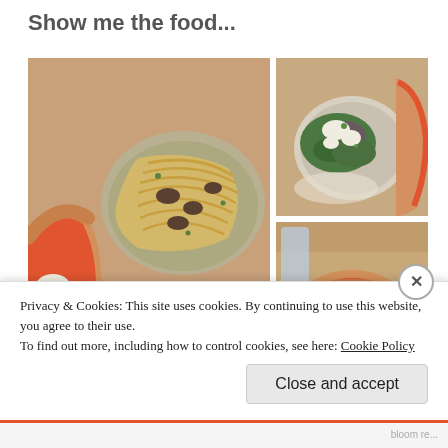Show me the food...
[Figure (photo): Three food photos arranged in a grid: left - a large pasta dish with spaghetti and mushrooms alongside a pizza; top right - a salad bowl with greens and white cheese; bottom right - a margherita pizza on wooden board.]
Privacy & Cookies: This site uses cookies. By continuing to use this website, you agree to their use.
To find out more, including how to control cookies, see here: Cookie Policy
Close and accept